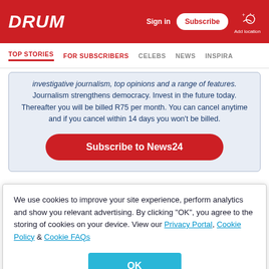DRUM — Sign in | Subscribe | Add location
TOP STORIES | FOR SUBSCRIBERS | CELEBS | NEWS | INSPIRA
investigative journalism, top opinions and a range of features. Journalism strengthens democracy. Invest in the future today. Thereafter you will be billed R75 per month. You can cancel anytime and if you cancel within 14 days you won't be billed.
Subscribe to News24
READ MORE ON:
We use cookies to improve your site experience, perform analytics and show you relevant advertising. By clicking "OK", you agree to the storing of cookies on your device. View our Privacy Portal, Cookie Policy & Cookie FAQs
OK